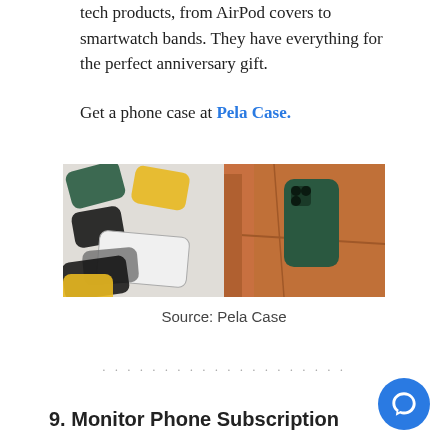tech products, from AirPod covers to smartwatch bands. They have everything for the perfect anniversary gift.
Get a phone case at Pela Case.
[Figure (photo): Two side-by-side photos: left shows multiple phone cases in various colors (green, yellow, black, gray, white) laid flat on a surface; right shows a person holding a green phone case in a jacket pocket.]
Source: Pela Case
· · · · · · · · · · · · · · · · · · · ·
9. Monitor Phone Subscription